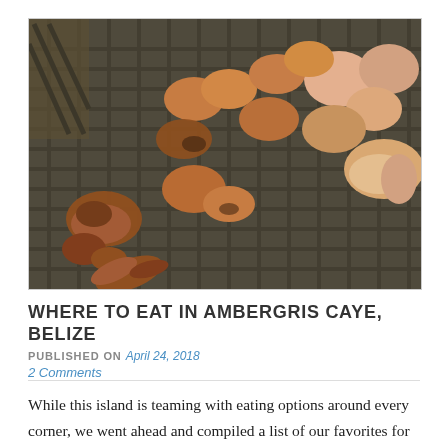[Figure (photo): Chicken pieces grilling on a large outdoor BBQ grill grate, various cuts at different stages of cooking, some charred, with smoke visible.]
WHERE TO EAT IN AMBERGRIS CAYE, BELIZE
PUBLISHED ON April 24, 2018
2 Comments
While this island is teaming with eating options around every corner, we went ahead and compiled a list of our favorites for you! This way you can have a list of